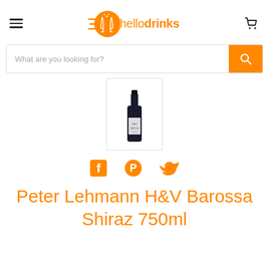hellodrinks navigation header with hamburger menu and cart icon
[Figure (logo): hellodrinks logo: orange circle with two clinking glasses icon on left, orange text 'hellodrinks' with 'hello' light and 'drinks' bold on right]
[Figure (screenshot): Search bar with placeholder text 'What are you looking for?' and orange search button with magnifying glass icon]
[Figure (photo): Wine bottle product image: Peter Lehmann H&V Barossa Shiraz 750ml, dark bottle with label, shown in a bordered thumbnail box]
[Figure (infographic): Social sharing icons: Facebook, Pinterest, Twitter in orange]
Peter Lehmann H&V Barossa Shiraz 750ml